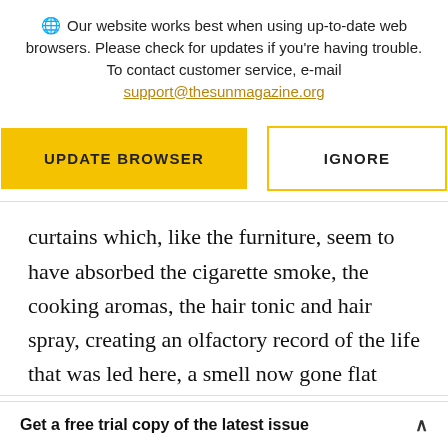Our website works best when using up-to-date web browsers. Please check for updates if you're having trouble. To contact customer service, e-mail support@thesunmagazine.org
[Figure (other): Two buttons: a yellow filled 'UPDATE BROWSER' button and a yellow-outlined 'IGNORE' button]
curtains which, like the furniture, seem to have absorbed the cigarette smoke, the cooking aromas, the hair tonic and hair spray, creating an olfactory record of the life that was led here, a smell now gone flat somehow, but Chad's
Get a free trial copy of the latest issue